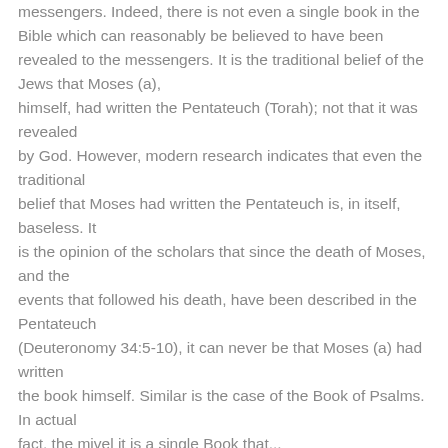messengers. Indeed, there is not even a single book in the Bible which can reasonably be believed to have been revealed to the messengers. It is the traditional belief of the Jews that Moses (a), himself, had written the Pentateuch (Torah); not that it was revealed by God. However, modern research indicates that even the traditional belief that Moses had written the Pentateuch is, in itself, baseless. It is the opinion of the scholars that since the death of Moses, and the events that followed his death, have been described in the Pentateuch (Deuteronomy 34:5-10), it can never be that Moses (a) had written the book himself. Similar is the case of the Book of Psalms. In actual fact, the mivel it is a single Book that...